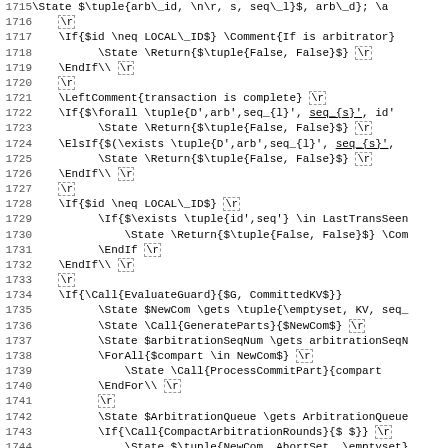Code listing lines 1715-1747, pseudocode/algorithm in LaTeX algorithmic style
1716  \r
1717  \If{$id \neq LOCAL\_ID$} \Comment{If is arbitrator}
1718       \State \Return{$\tuple{False, False}$} \r
1719  \EndIf\\ \r
1720  \r
1721  \LeftComment{transaction is complete} \r
1722  \If{$\forall \tuple{D',arb',seq_{l}', seq_{s}', id'
1723       \State \Return{$\tuple{False, False}$} \r
1724  \ElsIf{$(\exists \tuple{D',arb',seq_{l}', seq_{s}',
1725       \State \Return{$\tuple{False, False}$} \r
1726  \EndIf\\ \r
1727  \r
1728  \If{$id \neq LOCAL\_ID$} \r
1729       \If{$\exists \tuple{id',seq'} \in LastTransSeen
1730            \State \Return{$\tuple{False, False}$} \Com
1731       \EndIf \r
1732  \EndIf\\ \r
1733  \r
1734  \If{\Call{EvaluateGuard}{$G, CommittedKV$}}
1735       \State $NewCom \gets \tuple{\emptyset, KV, seq_
1736       \State \Call{GenerateParts}{$NewCom$} \r
1737       \State $arbitrationSeqNum \gets arbitrationSeqN
1738       \ForAll{$compart \in NewCom$} \r
1739            \State \Call{ProcessCommitPart}{compart
1740       \EndFor\\ \r
1741       \r
1742       \State $ArbitrationQueue \gets ArbitrationQueue
1743       \If{\Call{CompactArbitrationRounds}{$ $}} \r
1744            \State $\tuple{NewCom, AbortSet, \emptyset}
1745            \ForAll{$compart \in NewCom$} \r
1746                 \State \Call{ProcessCommitPart}{compart
1747            \EndFor \r